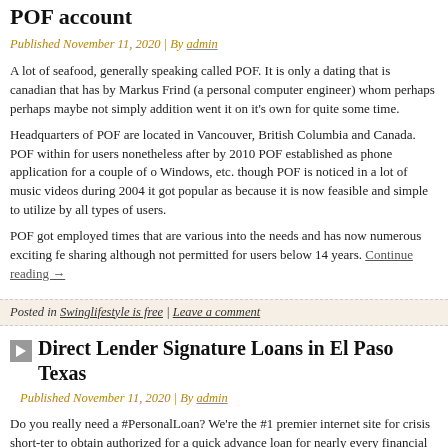POF account
Published November 11, 2020 | By admin
A lot of seafood, generally speaking called POF. It is only a dating that is canadian that has by Markus Frind (a personal computer engineer) whom perhaps perhaps maybe not simply addition went it on it's own for quite some time.
Headquarters of POF are located in Vancouver, British Columbia and Canada. POF within for users nonetheless after by 2010 POF established as phone application for a couple of o Windows, etc. though POF is noticed in a lot of music videos during 2004 it got popular as because it is now feasible and simple to utilize by all types of users.
POF got employed times that are various into the needs and has now numerous exciting fe sharing although not permitted for users below 14 years. Continue reading →
Posted in Swinglifestyle is free | Leave a comment
Direct Lender Signature Loans in El Paso Texas
Published November 11, 2020 | By admin
Do you really need a #PersonalLoan? We're the #1 premier internet site for crisis short-ter to obtain authorized for a quick advance loan for nearly every financial predicament. Our s typically assist borrowers with good, exceptional, bad and credit that is poor. We result in t supply a fast solution for quick money loans from $250 to $10,000 or more online. Whilst residents review choices and will be offering on short term installment loans for every sing have loan providers and lovers working 24 / 7 to assist you along with your advance loan n approval loan to cover a medical bill, avoid an overdue fee or bank overdraft fee, pay mon extra cash for a unique occasion our loan providers are right here to greatly help 24/7!